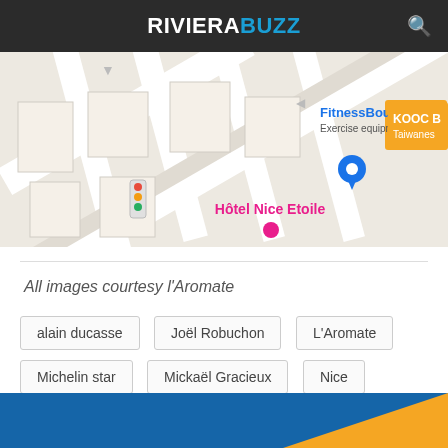RIVIERA BUZZ
[Figure (map): Google Maps screenshot showing streets near Hôtel Nice Etoile, with FitnessBoutique (exercise equipment store) and KOOC (Taiwanese restaurant) labels visible, along with a blue location pin and traffic light icon.]
All images courtesy l'Aromate
alain ducasse
Joël Robuchon
L'Aromate
Michelin star
Mickaël Gracieux
Nice